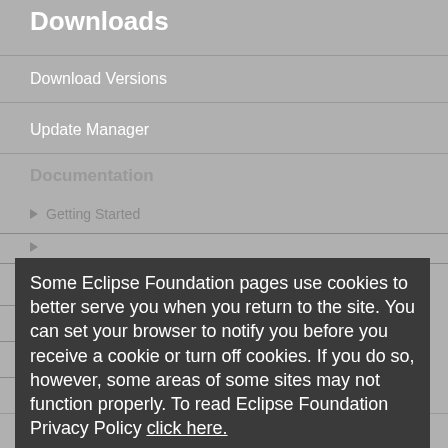Downloads
Download Versions
Update Manager
Documentation
Getting Started
FAQ
Plan
Release Notes
Search CVS
Some Eclipse Foundation pages use cookies to better serve you when you return to the site. You can set your browser to notify you before you receive a cookie or turn off cookies. If you do so, however, some areas of some sites may not function properly. To read Eclipse Foundation Privacy Policy click here.
Community
How To Contribute